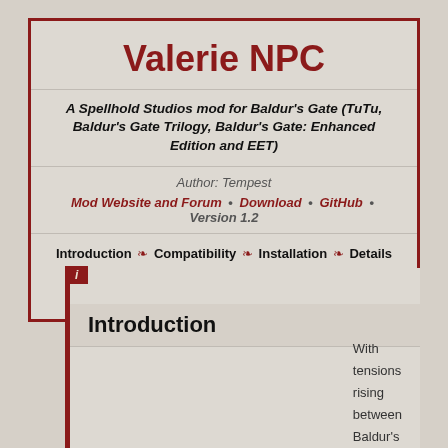Valerie NPC
A Spellhold Studios mod for Baldur's Gate (TuTu, Baldur's Gate Trilogy, Baldur's Gate: Enhanced Edition and EET)
Author: Tempest
Mod Website and Forum • Download • GitHub • Version 1.2
Introduction ❧ Compatibility ❧ Installation ❧ Details ❧ FAQ ❧ Credits ❧ Version History
Introduction
With tensions rising between Baldur's